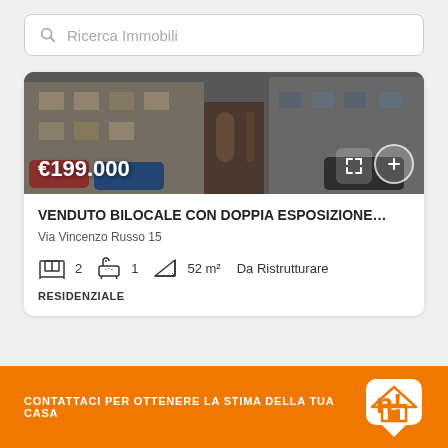Ricerca Immobili
[Figure (photo): Property listing photo showing a residential building exterior with cars parked outside and a building entrance visible]
VENDUTO BILOCALE CON DOPPIA ESPOSIZIONE…
Via Vincenzo Russo 15
2  1  52 m²  Da Ristrutturare
RESIDENZIALE
CONTATTACI PER OTTENERE LA STIMA DELLA TUA CASA